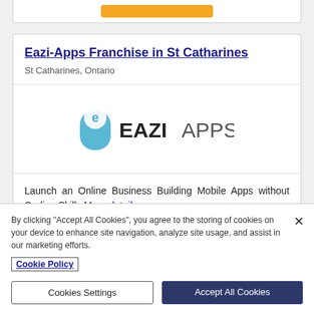Eazi-Apps Franchise in St Catharines
St Catharines, Ontario
[Figure (logo): Eazi-Apps logo with blue capsule icon and EAZIAPPS text]
Launch an Online Business Building Mobile Apps without Coding Skills More details »
By clicking "Accept All Cookies", you agree to the storing of cookies on your device to enhance site navigation, analyze site usage, and assist in our marketing efforts.
Cookie Policy
Cookies Settings
Accept All Cookies